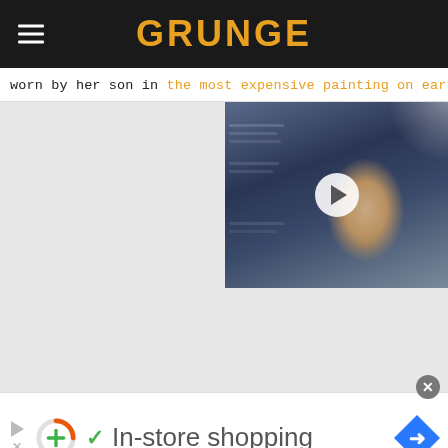GRUNGE
worn by her son in the most expensive painting on earth.
[Figure (photo): Video thumbnail showing a bald man in a dark suit with a blue-toned background, with a white play button overlay]
[Figure (infographic): Bottom advertisement bar with donut loader icon, checkmark, text 'In-store shopping', navigation arrow icon, and close button]